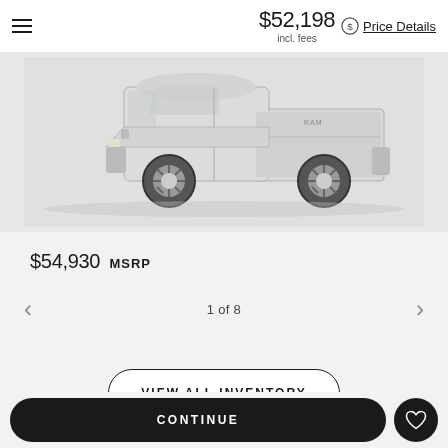$52,198 incl. fees
Price Details
[Figure (photo): White pickup truck (side view) displayed on a light gray background]
$54,930 MSRP
1 of 8
VIEW ALL INVENTORY
CONTINUE